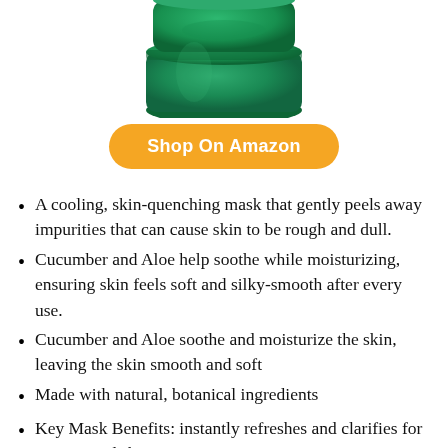[Figure (photo): Green cosmetic jar/container product photo, partially cropped at top of image]
Shop On Amazon
A cooling, skin-quenching mask that gently peels away impurities that can cause skin to be rough and dull.
Cucumber and Aloe help soothe while moisturizing, ensuring skin feels soft and silky-smooth after every use.
Cucumber and Aloe soothe and moisturize the skin, leaving the skin smooth and soft
Made with natural, botanical ingredients
Key Mask Benefits: instantly refreshes and clarifies for rejuvenated skin
Good for 10-12 uses per tube